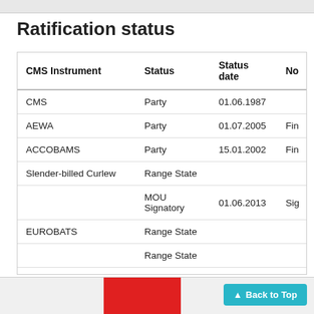Ratification status
| CMS Instrument | Status | Status date | No |
| --- | --- | --- | --- |
| CMS | Party | 01.06.1987 |  |
| AEWA | Party | 01.07.2005 | Fin |
| ACCOBAMS | Party | 15.01.2002 | Fin |
| Slender-billed Curlew | Range State |  |  |
|  | MOU Signatory | 01.06.2013 | Sig |
| EUROBATS | Range State |  |  |
|  | Range State |  |  |
| Sahelo-Saharan Megafauna | Range State |  |  |
| African Carnivores Initiative | Range State |  |  |